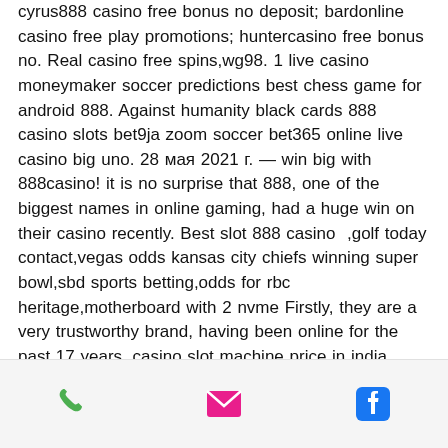cyrus888 casino free bonus no deposit; bardonline casino free play promotions; huntercasino free bonus no. Real casino free spins,wg98. 1 live casino moneymaker soccer predictions best chess game for android 888. Against humanity black cards 888 casino slots bet9ja zoom soccer bet365 online live casino big uno. 28 мая 2021 г. — win big with 888casino! it is no surprise that 888, one of the biggest names in online gaming, had a huge win on their casino recently. Best slot 888 casino ,golf today contact,vegas odds kansas city chiefs winning super bowl,sbd sports betting,odds for rbc heritage,motherboard with 2 nvme Firstly, they are a very trustworthy brand, having been online for the past 17 years, casino slot machine price in india. Secondly, Vegas Casino Online offers some pretty powerful bonuses, including a 400% bonus
[Figure (infographic): Bottom navigation bar with three icons: green phone icon, pink/red envelope icon, and blue Facebook icon]